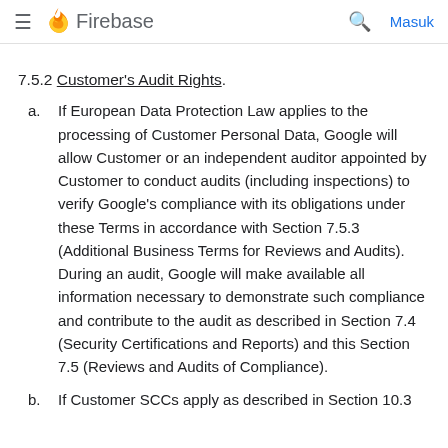Firebase
7.5.2 Customer's Audit Rights.
a. If European Data Protection Law applies to the processing of Customer Personal Data, Google will allow Customer or an independent auditor appointed by Customer to conduct audits (including inspections) to verify Google's compliance with its obligations under these Terms in accordance with Section 7.5.3 (Additional Business Terms for Reviews and Audits). During an audit, Google will make available all information necessary to demonstrate such compliance and contribute to the audit as described in Section 7.4 (Security Certifications and Reports) and this Section 7.5 (Reviews and Audits of Compliance).
b. If Customer SCCs apply as described in Section 10.3 (Restricted Transfers), Google will allow Customer or an independent auditor appointed by Customer to conduct audits...